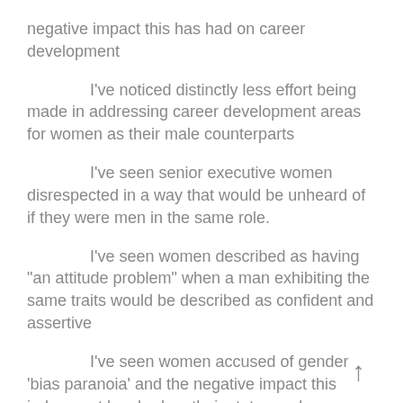negative impact this has had on career development
I've noticed distinctly less effort being made in addressing career development areas for women as their male counterparts
I've seen senior executive women disrespected in a way that would be unheard of if they were men in the same role.
I've seen women described as having “an attitude problem” when a man exhibiting the same traits would be described as confident and assertive
I've seen women accused of gender ‘bias paranoia’ and the negative impact this judgement has had on their status and career prospects
Over the years I’ve seen a lot as a consultant.